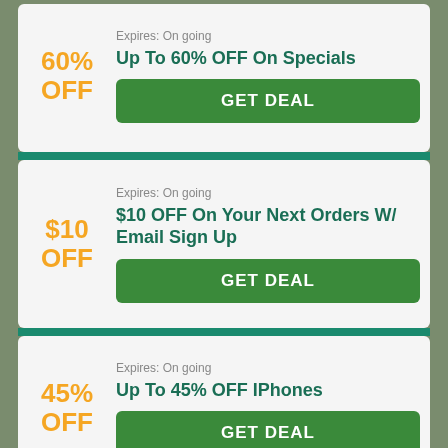Expires: On going
60% OFF
Up To 60% OFF On Specials
GET DEAL
Expires: On going
$10 OFF
$10 OFF On Your Next Orders W/ Email Sign Up
GET DEAL
Expires: On going
45% OFF
Up To 45% OFF IPhones
GET DEAL